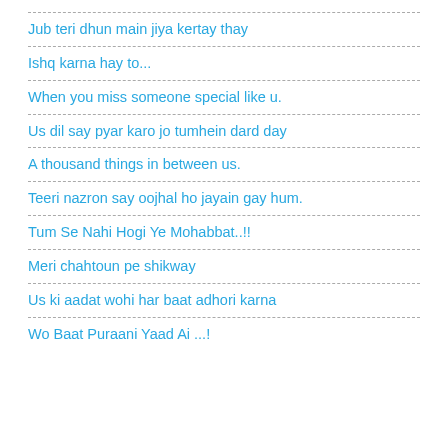Jub teri dhun main jiya kertay thay
Ishq karna hay to...
When you miss someone special like u.
Us dil say pyar karo jo tumhein dard day
A thousand things in between us.
Teeri nazron say oojhal ho jayain gay hum.
Tum Se Nahi Hogi Ye Mohabbat..!!
Meri chahtoun pe shikway
Us ki aadat wohi har baat adhori karna
Wo Baat Puraani Yaad Ai ...!